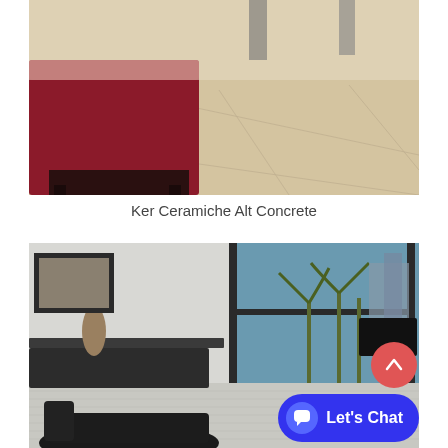[Figure (photo): Interior room photo showing a beige/cream large-format tile floor with a dark red/burgundy sofa or ottoman on the left side and dark furniture legs visible in the background.]
Ker Ceramiche Alt Concrete
[Figure (photo): Interior living room photo with light grey plank flooring. A wall-mounted TV unit with shelves is visible on the left, large black-framed windows in the center showing palm trees and a cityscape outside, and a black lounge chair in the lower foreground. A 'Let's Chat' chat widget button and a red scroll-up arrow button are overlaid in the lower right.]